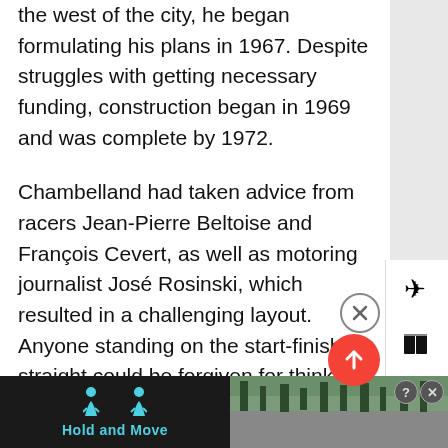the west of the city, he began formulating his plans in 1967. Despite struggles with getting necessary funding, construction began in 1969 and was complete by 1972.
Chambelland had taken advice from racers Jean-Pierre Beltoise and François Cevert, as well as motoring journalist José Rosinski, which resulted in a challenging layout. Anyone standing on the start-finish straight could be forgiven for thinking this is another flat-aerodrome circuit but as soon as you arrive at the first turn, you plunge downhill through a sweeping series of curves, before climbing back up the hill on the return leg. With unusual elevation changes and off-camber corners, this is a circuit which tests concentration to the full.
[Figure (screenshot): Advertisement banner at bottom showing 'Hold and Move' app with dark background and teal text, with a road/forest image and two human figure icons]